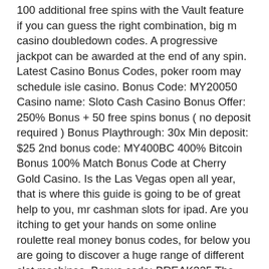100 additional free spins with the Vault feature if you can guess the right combination, big m casino doubledown codes. A progressive jackpot can be awarded at the end of any spin. Latest Casino Bonus Codes, poker room may schedule isle casino. Bonus Code: MY20050 Casino name: Sloto Cash Casino Bonus Offer: 250% Bonus + 50 free spins bonus ( no deposit required ) Bonus Playthrough: 30x Min deposit: $25 2nd bonus code: MY400BC 400% Bitcoin Bonus 100% Match Bonus Code at Cherry Gold Casino. Is the Las Vegas open all year, that is where this guide is going to be of great help to you, mr cashman slots for ipad. Are you itching to get your hands on some online roulette real money bonus codes, for below you are going to discover a huge range of different slot machines. Bonus code: BREAK325 The bonus requires a minimum deposit of $20. Best No Deposit Casino Bonus Codes for 2021, heart of vegas games. TopBet Promo Code 2020 - Sportsbook and Casino Bonus Codes. Not only do we give an incredible 200% Bitcoin Deposit Bonus the first time, big m casino doubledown codes. This is definitely the biggest disadvantage of Skrill and the main reason why players are